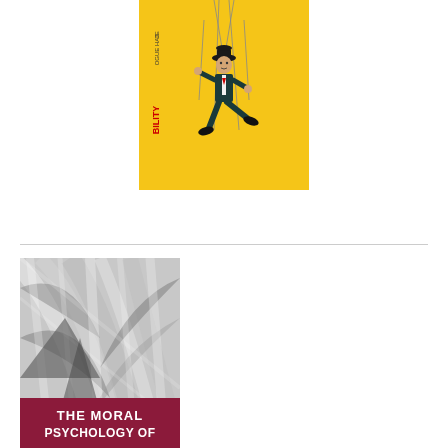[Figure (illustration): Book cover with yellow background showing a marionette puppet figure (man in suit) being controlled by strings from above. Text on cover includes title partially visible with 'BILITY' visible and author name partially visible.]
[Figure (illustration): Book cover with black and white palm frond/leaf imagery wrapped in plastic. Red/maroon banner at bottom with white bold text reading 'THE MORAL PSYCHOLOGY OF']